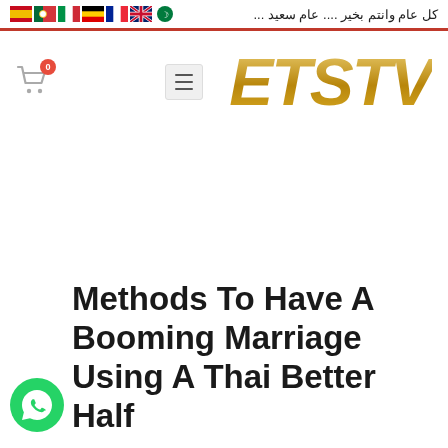كل عام وانتم بخير .... عام سعيد ...
[Figure (logo): ETSTV logo in gold italic bold text with cart icon showing badge 0 and hamburger menu icon]
Methods To Have A Booming Marriage Using A Thai Better Half